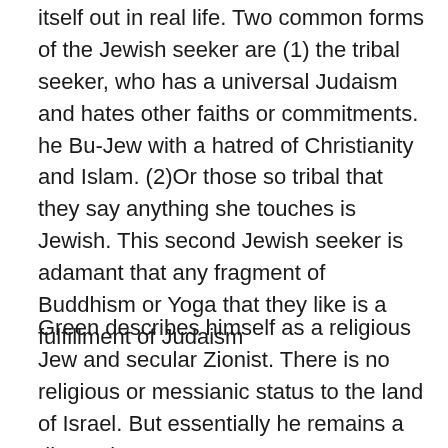itself out in real life. Two common forms of the Jewish seeker are (1) the tribal seeker, who has a universal Judaism and hates other faiths or commitments. he Bu-Jew with a hatred of Christianity and Islam. (2)Or those so tribal that they say anything she touches is Jewish. This second Jewish seeker is adamant that any fragment of Buddhism or Yoga that they like is a fulfillment of Judaism
Green describes himself as a religious Jew and secular Zionist. There is no religious or messianic status to the land of Israel. But essentially he remains a diasporist.
Green has a nice section on his differences from Heschel. For Heschel, one actually gives to God when performing a mizvah- there is real theurgy. Heschel had a Biblical personalist image of with mystical overtones, and Green admits that he is a pantheist with personalist overtones A